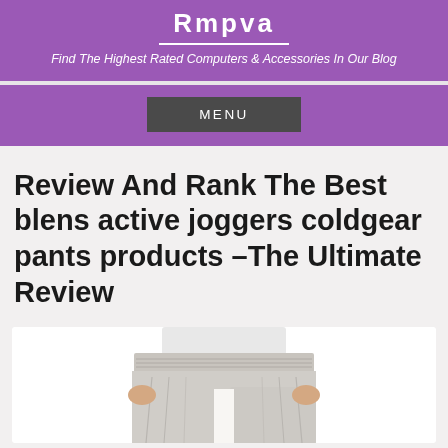Rmpva
Find The Highest Rated Computers & Accessories In Our Blog
MENU
Review And Rank The Best blens active joggers coldgear pants products –The Ultimate Review
[Figure (photo): Person wearing light grey jogger pants with elastic waistband, hands at sides, cropped view showing waist to upper thigh area]